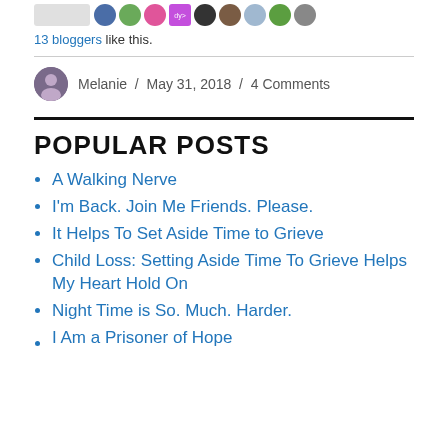[Figure (photo): Row of small circular blogger avatar photos/thumbnails and a placeholder button]
13 bloggers like this.
Melanie / May 31, 2018 / 4 Comments
POPULAR POSTS
A Walking Nerve
I'm Back. Join Me Friends. Please.
It Helps To Set Aside Time to Grieve
Child Loss: Setting Aside Time To Grieve Helps My Heart Hold On
Night Time is So. Much. Harder.
I Am a Prisoner of Hope